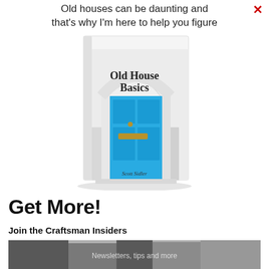Old houses can be daunting and that's why I'm here to help you figure
[Figure (photo): Book cover of 'Old House Basics' by Scott Sidler, featuring a bright blue door set in a white stone archway]
Get More!
Join the Craftsman Insiders
[Figure (photo): Black and white photograph of a crowd of people]